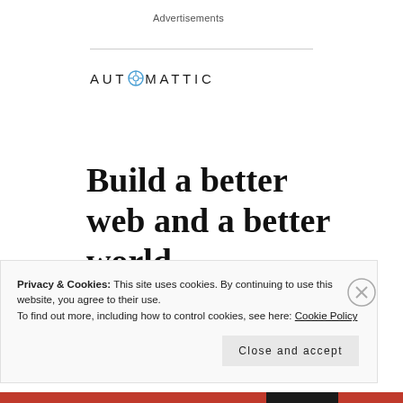Advertisements
[Figure (logo): Automattic logo with a circular compass/O icon and text AUTOMATTIC in spaced uppercase letters]
Build a better web and a better world.
Privacy & Cookies: This site uses cookies. By continuing to use this website, you agree to their use.
To find out more, including how to control cookies, see here: Cookie Policy
Close and accept